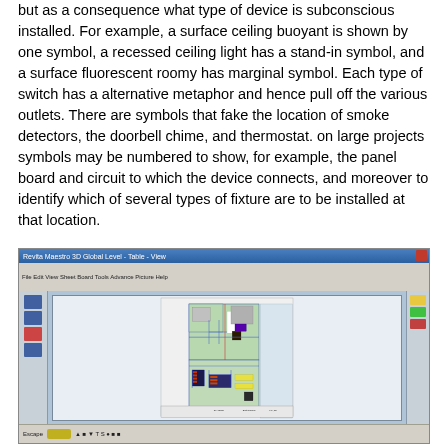but as a consequence what type of device is subconscious installed. For example, a surface ceiling buoyant is shown by one symbol, a recessed ceiling light has a stand-in symbol, and a surface fluorescent roomy has marginal symbol. Each type of switch has a alternative metaphor and hence pull off the various outlets. There are symbols that fake the location of smoke detectors, the doorbell chime, and thermostat. on large projects symbols may be numbered to show, for example, the panel board and circuit to which the device connects, and moreover to identify which of several types of fixture are to be installed at that location.
[Figure (screenshot): Screenshot of an electrical CAD software (appears to be AutoCAD or similar) showing a floor plan electrical layout with wiring, panel board symbols, outlets, and electrical fixtures drawn on a green-tinted floor plan. The interface shows toolbars, a left panel with navigation buttons, and a right panel with color-coded layer buttons.]